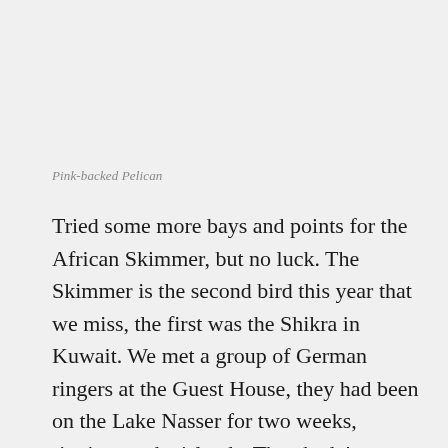Pink-backed Pelican
Tried some more bays and points for the African Skimmer, but no luck. The Skimmer is the second bird this year that we miss, the first was the Shikra in Kuwait. We met a group of German ringers at the Guest House, they had been on the Lake Nasser for two weeks, ringing on the islands. They hadn’t seen any Skimmers in two weeks on the lake, so I guess they are still in Sudan. Win some – loose some.